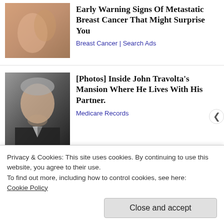[Figure (photo): Close-up photo of a person's chest/hands, related to breast cancer ad]
Early Warning Signs Of Metastatic Breast Cancer That Might Surprise You
Breast Cancer | Search Ads
[Figure (photo): Photo of John Travolta, a man with gray hair and beard in a suit]
[Photos] Inside John Travolta's Mansion Where He Lives With His Partner.
Medicare Records
#209
1957
Japan
Tokyo Twilight
Privacy & Cookies: This site uses cookies. By continuing to use this website, you agree to their use.
To find out more, including how to control cookies, see here:
Cookie Policy
Close and accept